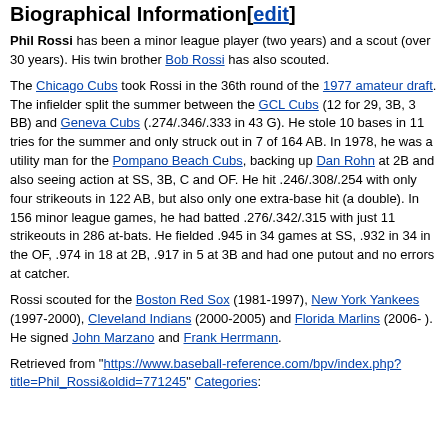Biographical Information[edit]
Phil Rossi has been a minor league player (two years) and a scout (over 30 years). His twin brother Bob Rossi has also scouted.
The Chicago Cubs took Rossi in the 36th round of the 1977 amateur draft. The infielder split the summer between the GCL Cubs (12 for 29, 3B, 3 BB) and Geneva Cubs (.274/.346/.333 in 43 G). He stole 10 bases in 11 tries for the summer and only struck out in 7 of 164 AB. In 1978, he was a utility man for the Pompano Beach Cubs, backing up Dan Rohn at 2B and also seeing action at SS, 3B, C and OF. He hit .246/.308/.254 with only four strikeouts in 122 AB, but also only one extra-base hit (a double). In 156 minor league games, he had batted .276/.342/.315 with just 11 strikeouts in 286 at-bats. He fielded .945 in 34 games at SS, .932 in 34 in the OF, .974 in 18 at 2B, .917 in 5 at 3B and had one putout and no errors at catcher.
Rossi scouted for the Boston Red Sox (1981-1997), New York Yankees (1997-2000), Cleveland Indians (2000-2005) and Florida Marlins (2006- ). He signed John Marzano and Frank Herrmann.
Retrieved from "https://www.baseball-reference.com/bpv/index.php?title=Phil_Rossi&oldid=771245" Categories: